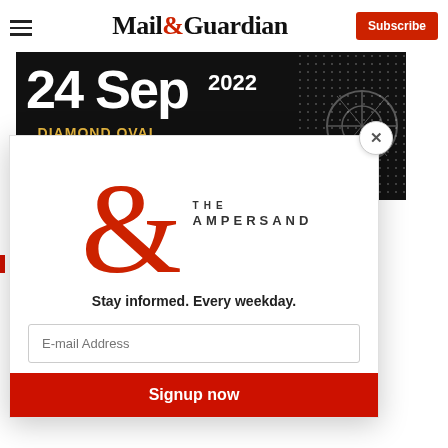Mail&Guardian
[Figure (photo): Advertisement banner with dark background showing '24 Sep 2022', 'DIAMOND OVAL CRICKET STADIUM (KIMBERLEY)', 'Tickets available']
[Figure (logo): The Ampersand newsletter logo - large red ampersand with 'THE AMPERSAND' text]
Stay informed. Every weekday.
E-mail Address
Signup now